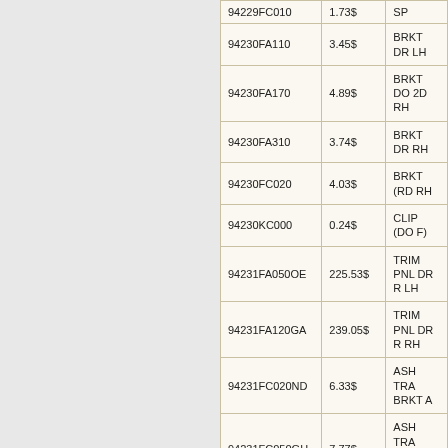| Code | Price | Description |
| --- | --- | --- |
| 94229FC010 | 1.73$ | SP |
| 94230FA110 | 3.45$ | BRKT DR LH |
| 94230FA170 | 4.89$ | BRKT DO 2D RH |
| 94230FA310 | 3.74$ | BRKT DR RH |
| 94230FC020 | 4.03$ | BRKT (RD RH |
| 94230KC000 | 0.24$ | CLIP (DO F) |
| 94231FA050OE | 225.53$ | TRIM PNL DR R LH |
| 94231FA120GA | 239.05$ | TRIM PNL DR R RH |
| 94231FC020ND | 6.33$ | ASH TRA BRKT A |
| 94231FC050GH | 7.77$ | ASH TRA SUB ASS |
| 94231FC060ES | 3.45$ | ASH BRK |